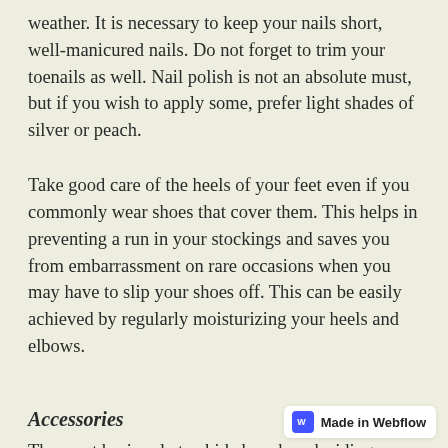weather. It is necessary to keep your nails short, well-manicured nails. Do not forget to trim your toenails as well. Nail polish is not an absolute must, but if you wish to apply some, prefer light shades of silver or peach.
Take good care of the heels of your feet even if you commonly wear shoes that cover them. This helps in preventing a run in your stockings and saves you from embarrassment on rare occasions when you may have to slip your shoes off. This can be easily achieved by regularly moisturizing your heels and elbows.
Accessories
The most basic rule to abide by when deciding on